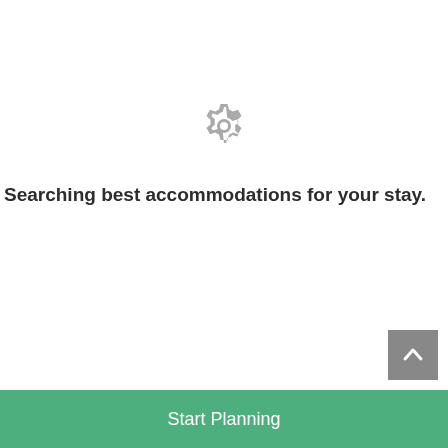[Figure (illustration): Gray gear/settings icon centered on page]
Searching best accommodations for your stay.
[Figure (illustration): Gray scroll-to-top button with upward chevron arrow, positioned bottom right]
Start Planning